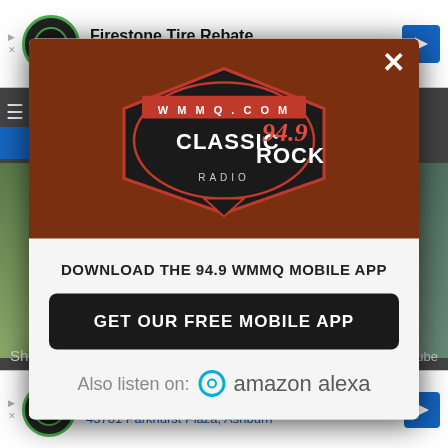[Figure (screenshot): Top advertisement banner: Firestone Tire Rebate - Virginia Tire & Auto of Ashburn, with auto service logo and blue arrow icon]
[Figure (screenshot): Modal popup with brown header containing Classic 94.9 Rock Radio (WMMQ.com) logo, white X close button, and white lower section]
DOWNLOAD THE 94.9 WMMQ MOBILE APP
GET OUR FREE MOBILE APP
Also listen on:  amazon alexa
[Figure (screenshot): Bottom advertisement banner: Ashburn OPEN 7:30AM-6PM, 43781 Parkhurst Plaza, Ashburn, Virginia Tire & Auto logo and blue arrow]
Shoot